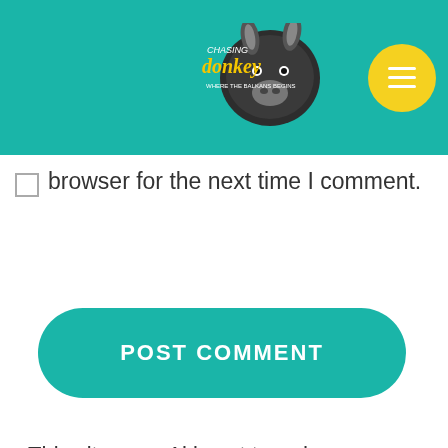[Figure (logo): Chasing the Donkey travel blog logo with donkey illustration on teal header bar, with yellow circle hamburger menu button]
browser for the next time I comment.
POST COMMENT
This site uses Akismet to reduce spam. Learn how your comment data is processed.